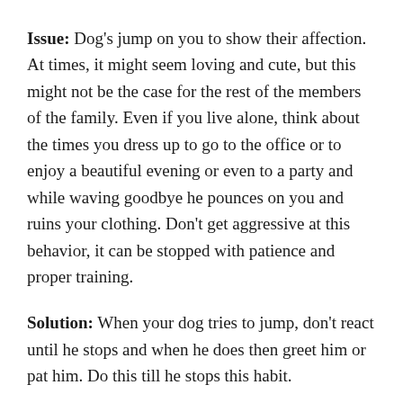Issue: Dog's jump on you to show their affection. At times, it might seem loving and cute, but this might not be the case for the rest of the members of the family. Even if you live alone, think about the times you dress up to go to the office or to enjoy a beautiful evening or even to a party and while waving goodbye he pounces on you and ruins your clothing. Don't get aggressive at this behavior, it can be stopped with patience and proper training.
Solution: When your dog tries to jump, don't react until he stops and when he does then greet him or pat him. Do this till he stops this habit.
[Read] 5 Cost-effective Ways to S...